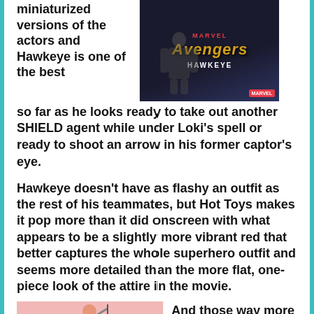miniaturized versions of the actors and Hawkeye is one of the best so far as he looks ready to take out another SHIELD agent while under Loki's spell or ready to shoot an arrow in his former captor's eye.
[Figure (photo): Hot Toys Marvel Avengers Hawkeye collectible figure packaging image with dark background, Marvel and Avengers logo, and HAWKEYE label]
Hawkeye doesn't have as flashy an outfit as the rest of his teammates, but Hot Toys makes it pop more than it did onscreen with what appears to be a slightly more vibrant red that better captures the whole superhero outfit and seems more detailed than the more flat, one-piece look of the attire in the movie.
[Figure (photo): Hot Toys Hawkeye action figure with pink/flesh tone background, person holding bow overhead]
And those way more